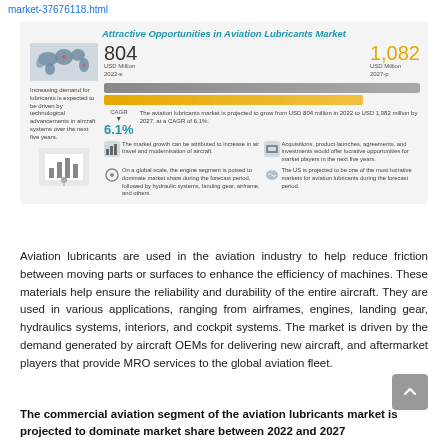market-37676118.html
[Figure (infographic): Attractive Opportunities in Aviation Lubricants Market infographic showing market size of USD 804 Million in 2022 growing to USD 1,082 Million in 2027 at a CAGR of 6.1%, with world map, bar charts, and bullet points about market drivers including air travel modernization, engine segment dominance, acquisitions/investments, and US market opportunity.]
Aviation lubricants are used in the aviation industry to help reduce friction between moving parts or surfaces to enhance the efficiency of machines. These materials help ensure the reliability and durability of the entire aircraft. They are used in various applications, ranging from airframes, engines, landing gear, hydraulics systems, interiors, and cockpit systems. The market is driven by the demand generated by aircraft OEMs for delivering new aircraft, and aftermarket players that provide MRO services to the global aviation fleet.
The commercial aviation segment of the aviation lubricants market is projected to dominate market share between 2022 and 2027